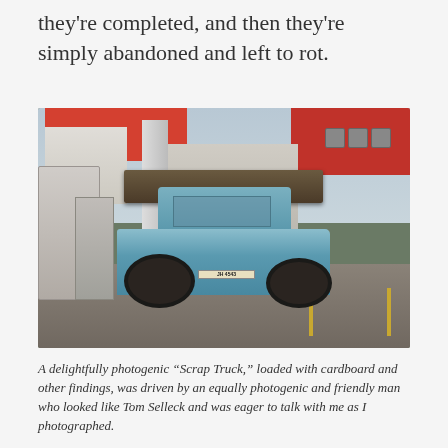they're completed, and then they're simply abandoned and left to rot.
[Figure (photo): A heavily rusted and worn light-blue Land Rover (license plate JH 4543) parked at a petrol station, loaded with scrap cardboard and debris on a roof rack. A red 'Fuels' sign is visible top left, red building with AC units top right, gas pump to the left of the vehicle.]
A delightfully photogenic “Scrap Truck,” loaded with cardboard and other findings, was driven by an equally photogenic and friendly man who looked like Tom Selleck and was eager to talk with me as I photographed.